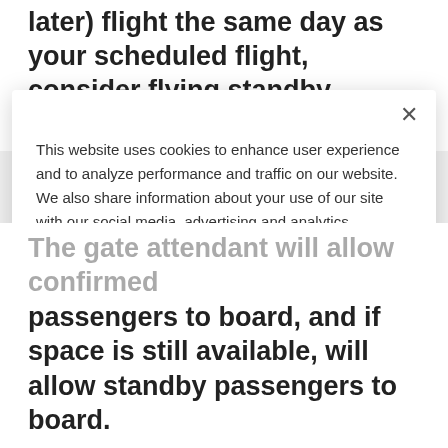later) flight the same day as your scheduled flight, consider flying standby—without
This website uses cookies to enhance user experience and to analyze performance and traffic on our website. We also share information about your use of our site with our social media, advertising and analytics partners.
Accept Cookies
Cookie Preferences
The gate attendant will allow confirmed passengers to board, and if space is still available, will allow standby passengers to board.